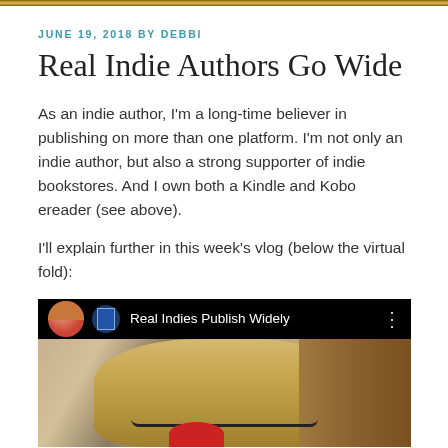JUNE 19, 2018 BY DEBBI
Real Indie Authors Go Wide
As an indie author, I'm a long-time believer in publishing on more than one platform. I'm not only an indie author, but also a strong supporter of indie bookstores. And I own both a Kindle and Kobo ereader (see above).
I'll explain further in this week's vlog (below the virtual fold):
[Figure (screenshot): YouTube video thumbnail showing a woman with blonde hair and glasses, with channel avatar and video title 'Real Indies Publish Widely' in header bar]